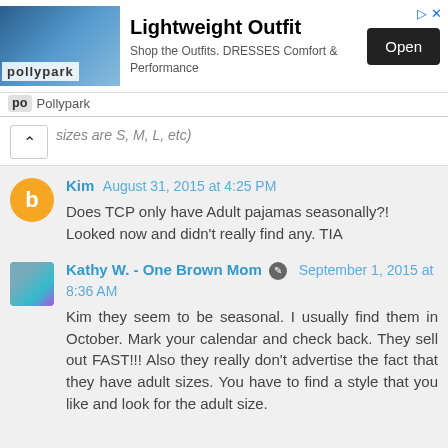[Figure (screenshot): Advertisement banner for Pollypark Lightweight Outfit with Open button]
sizes are S, M, L, etc)
Kim  August 31, 2015 at 4:25 PM
Does TCP only have Adult pajamas seasonally?! Looked now and didn't really find any. TIA
Kathy W. - One Brown Mom  September 1, 2015 at 8:36 AM
Kim they seem to be seasonal. I usually find them in October. Mark your calendar and check back. They sell out FAST!!! Also they really don't advertise the fact that they have adult sizes. You have to find a style that you like and look for the adult size.